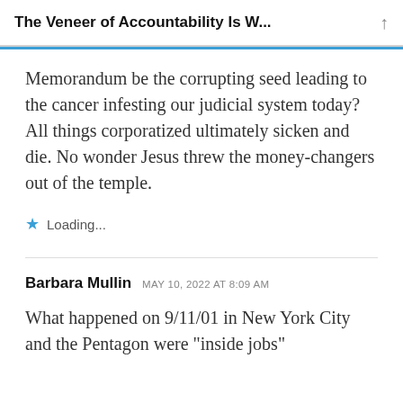The Veneer of Accountability Is W...
Memorandum be the corrupting seed leading to the cancer infesting our judicial system today? All things corporatized ultimately sicken and die. No wonder Jesus threw the money-changers out of the temple.
Loading...
Barbara Mullin  MAY 10, 2022 AT 8:09 AM
What happened on 9/11/01 in New York City and the Pentagon were "inside jobs"